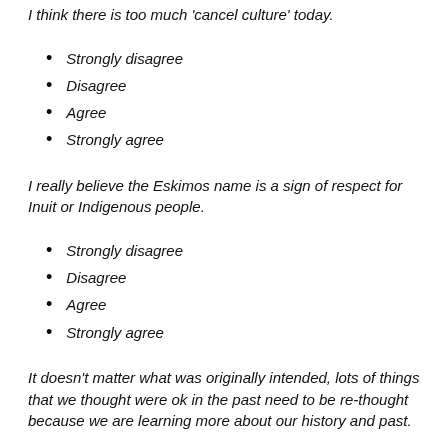I think there is too much 'cancel culture' today.
Strongly disagree
Disagree
Agree
Strongly agree
I really believe the Eskimos name is a sign of respect for Inuit or Indigenous people.
Strongly disagree
Disagree
Agree
Strongly agree
It doesn't matter what was originally intended, lots of things that we thought were ok in the past need to be re-thought because we are learning more about our history and past.